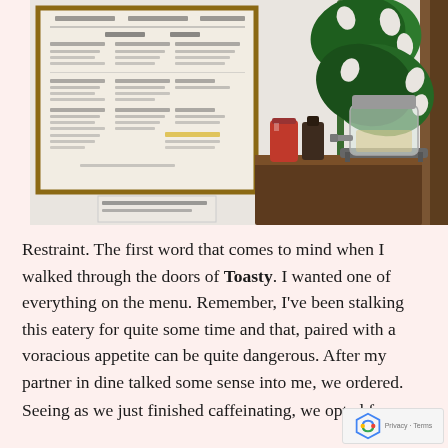[Figure (photo): Interior photo of a cafe called Toasty. On the left wall hangs a framed menu board. Below it is a small printed sticker/label. On the right side is a dark wooden table or shelf with a large glass beverage dispenser jar with a metal stand and spigot, a red can, a small dark bottle, and a monstera tropical plant against a white wall. A wooden panel is visible on the far right edge.]
Restraint. The first word that comes to mind when I walked through the doors of Toasty. I wanted one of everything on the menu. Remember, I've been stalking this eatery for quite some time and that, paired with a voracious appetite can be quite dangerous. After my partner in dine talked some sense into me, we ordered.
Seeing as we just finished caffeinating, we opted for